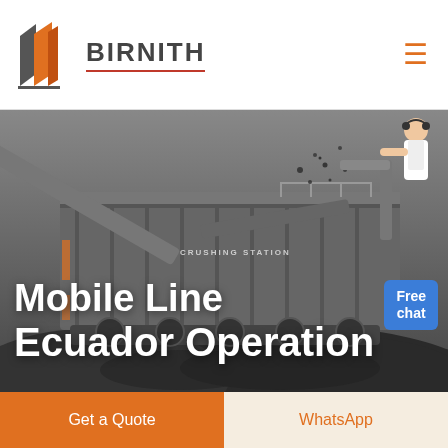[Figure (logo): Birnith company logo with orange building icon and company name BIRNITH]
[Figure (photo): Industrial mobile crushing station machine with conveyor belts and aggregate piles, dark/grey toned industrial photograph]
Mobile Line Ecuador Operation
Free chat
Get a Quote
WhatsApp